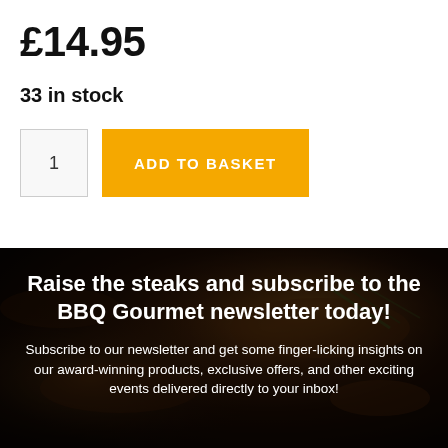£14.95
33 in stock
1   ADD TO BASKET
[Figure (photo): Dark background photo of grilled steaks with herbs, used as newsletter section background]
Raise the steaks and subscribe to the BBQ Gourmet newsletter today!
Subscribe to our newsletter and get some finger-licking insights on our award-winning products, exclusive offers, and other exciting events delivered directly to your inbox!